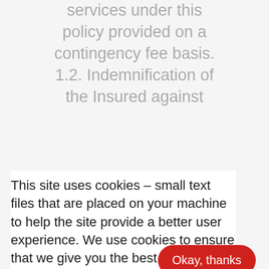services under this policy provided on a contingency fee basis. 1.2. Indemnification of the Insured against
This site uses cookies – small text files that are placed on your machine to help the site provide a better user experience. We use cookies to ensure that we give you the best browsing experience and make continuous improvements. By continuing to use Legal iQ you agree to our use of cookies.
Okay, thanks